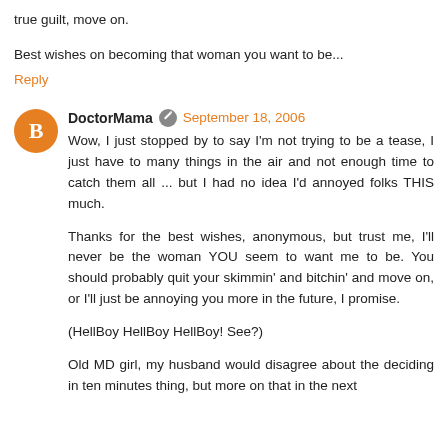true guilt, move on.
Best wishes on becoming that woman you want to be...
Reply
DoctorMama  September 18, 2006
Wow, I just stopped by to say I'm not trying to be a tease, I just have to many things in the air and not enough time to catch them all ... but I had no idea I'd annoyed folks THIS much.
Thanks for the best wishes, anonymous, but trust me, I'll never be the woman YOU seem to want me to be. You should probably quit your skimmin' and bitchin' and move on, or I'll just be annoying you more in the future, I promise.
(HellBoy HellBoy HellBoy! See?)
Old MD girl, my husband would disagree about the deciding in ten minutes thing, but more on that in the next